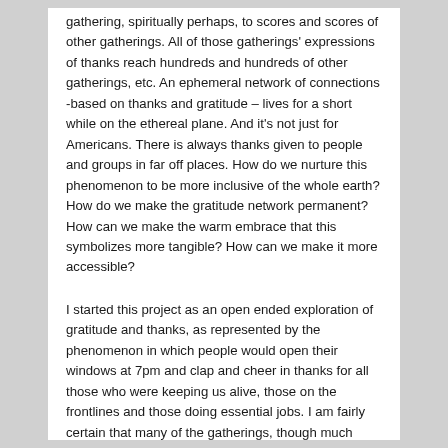gathering, spiritually perhaps, to scores and scores of other gatherings. All of those gatherings' expressions of thanks reach hundreds and hundreds of other gatherings, etc. An ephemeral network of connections -based on thanks and gratitude – lives for a short while on the ethereal plane. And it's not just for Americans. There is always thanks given to people and groups in far off places. How do we nurture this phenomenon to be more inclusive of the whole earth? How do we make the gratitude network permanent? How can we make the warm embrace that this symbolizes more tangible? How can we make it more accessible?
I started this project as an open ended exploration of gratitude and thanks, as represented by the phenomenon in which people would open their windows at 7pm and clap and cheer in thanks for all those who were keeping us alive, those on the frontlines and those doing essential jobs. I am fairly certain that many of the gatherings, though much smaller that usual, officered thanks to those workers, but they probably expressed it at the table and